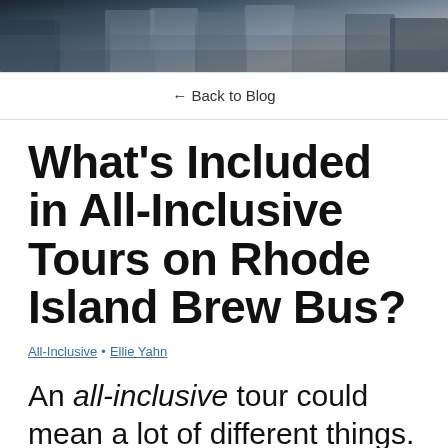[Figure (photo): Banner photograph showing a group of people from the waist down, wearing jeans and casual clothing, cropped at the top of the page]
← Back to Blog
What's Included in All-Inclusive Tours on Rhode Island Brew Bus?
All-Inclusive • Ellie Yahn
An all-inclusive tour could mean a lot of different things. We want to make